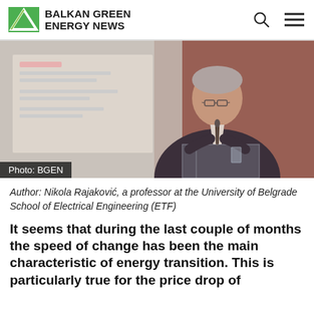BALKAN GREEN ENERGY NEWS
[Figure (photo): Man in dark suit speaking at a podium with microphone at a conference, with a presentation screen visible in the background. Photo credit: BGEN]
Photo: BGEN
Author: Nikola Rajaković, a professor at the University of Belgrade School of Electrical Engineering (ETF)
It seems that during the last couple of months the speed of change has been the main characteristic of energy transition. This is particularly true for the price drop of